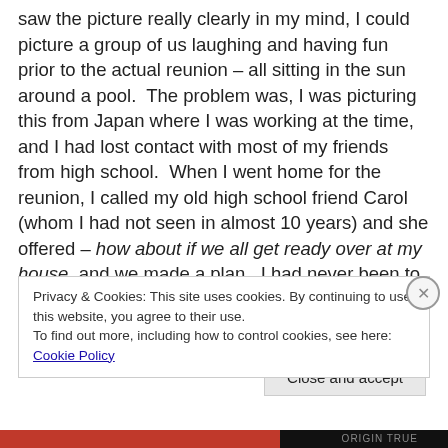saw the picture really clearly in my mind, I could picture a group of us laughing and having fun prior to the actual reunion – all sitting in the sun around a pool.  The problem was, I was picturing this from Japan where I was working at the time, and I had lost contact with most of my friends from high school.  When I went home for the reunion, I called my old high school friend Carol (whom I had not seen in almost 10 years) and she offered – how about if we all get ready over at my house, and we made a plan.  I had never been to the house that she now shared with her partner.  Carol called a few old friends and we met at her
Privacy & Cookies: This site uses cookies. By continuing to use this website, you agree to their use.
To find out more, including how to control cookies, see here: Cookie Policy
Close and accept